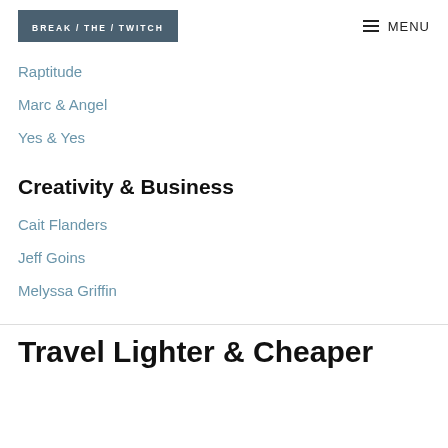BREAK / THE / TWITCH   ≡ MENU
Raptitude
Marc & Angel
Yes & Yes
Creativity & Business
Cait Flanders
Jeff Goins
Melyssa Griffin
Travel Lighter & Cheaper